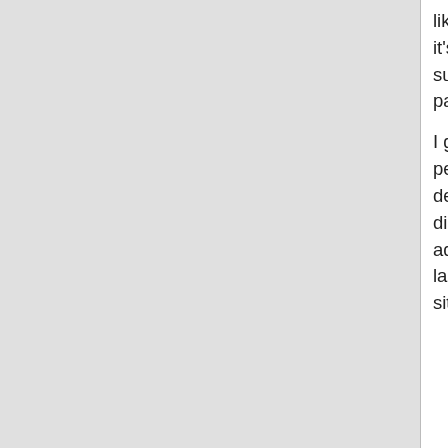like formula is poison (because of prior... it's good for her to be able to express he... support, rather than being bashed by a ... passionate about the legitimacy of form...
I guess it just strikes a primal chord in m... people associating breastfeeding with in... deal with random bystanders (not often,... disgusted by my lovingly breastfeeding ... admit to being very sensitive about peo... language, no matter how justified it may... situation.
The Bofa on the Sofa
And it strikes a bad chord with me when... claims to be a lactation consultant cann... women can have very personal emotion... breastfeeding, whether triggered by pas... thinks that such feelings need to be hid... delicate flowers?
And I find your comparison of a woman...